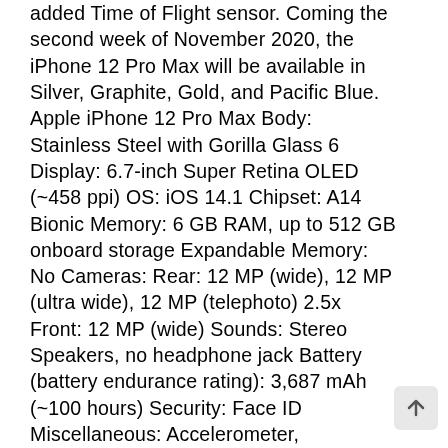added Time of Flight sensor. Coming the second week of November 2020, the iPhone 12 Pro Max will be available in Silver, Graphite, Gold, and Pacific Blue. Apple iPhone 12 Pro Max Body: Stainless Steel with Gorilla Glass 6 Display: 6.7-inch Super Retina OLED (~458 ppi) OS: iOS 14.1 Chipset: A14 Bionic Memory: 6 GB RAM, up to 512 GB onboard storage Expandable Memory: No Cameras: Rear: 12 MP (wide), 12 MP (ultra wide), 12 MP (telephoto) 2.5x Front: 12 MP (wide) Sounds: Stereo Speakers, no headphone jack Battery (battery endurance rating): 3,687 mAh (~100 hours) Security: Face ID Miscellaneous: Accelerometer, Gyrometer, Proximity, compass, barometer, Siri assistant, IP68 dust/water resistant Other versions: iPhone 12 Mini, iPhone 12, iPhone 12 Pro OnePlus 8 Pro The OnePlus 8 Pro is the first real flagship model built by a Chinese device manufacturer with a growing market share in the west. Coated front and back in Gorilla GLass 5 and built on an aluminum frame, the OnePlus 8 Pro is built with ergonomically-friendly curves. WIth a 6.78-inch AMOLED display, it can hold its own comfortably with the flagships from Apple and [...]